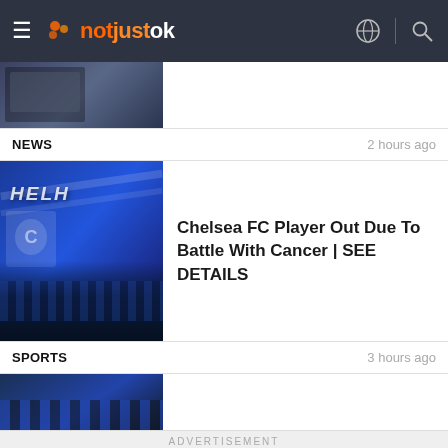notjustok
[Figure (photo): Partial view of a person, top of a news card]
NEWS	2 hours ago
[Figure (photo): Chelsea FC flag with crowd in stadium background]
Chelsea FC Player Out Due To Battle With Cancer | SEE DETAILS
SPORTS	3 hours ago
[Figure (photo): Partial view of stadium seating, bottom card]
ADVERTISEMENT
[Figure (other): AIM Institute advertisement banner: Get Started Today at AIM, Open button]